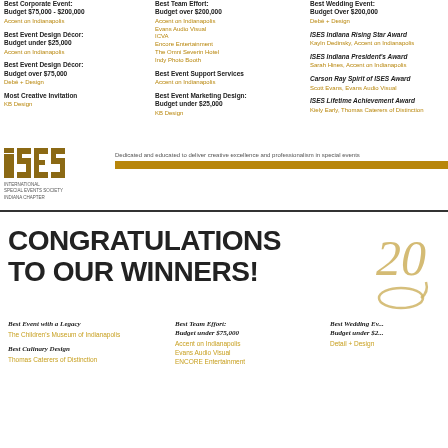Best Corporate Event: Budget $75,000 - $200,000
Accent on Indianapolis
Best Event Design Décor: Budget under $25,000
Accent on Indianapolis
Best Event Design Décor: Budget over $75,000
Debé + Design
Most Creative Invitation
KB Design
Best Team Effort: Budget over $200,000
Accent on Indianapolis
Evans Audio Visual
ICVA
Encore Entertainment
The Omni Severin Hotel
Indy Photo Booth
Best Event Support Services
Accent on Indianapolis
Best Event Marketing Design: Budget under $25,000
KB Design
Best Wedding Event: Budget Over $200,000
Debé + Design
ISES Indiana Rising Star Award
Kayln Dedinsky, Accent on Indianapolis
ISES Indiana President's Award
Sarah Hines, Accent on Indianapolis
Carson Ray Spirit of ISES Award
Scott Evans, Evans Audio Visual
ISES Lifetime Achievement Award
Kiely Early, Thomas Caterers of Distinction
[Figure (logo): ISES International Special Events Society Indiana Chapter logo with block letters]
Dedicated and educated to deliver creative excellence and professionalism in special events
CONGRATULATIONS TO OUR WINNERS!
Best Event with a Legacy
The Children's Museum of Indianapolis
Best Culinary Design
Thomas Caterers of Distinction
Best Team Effort: Budget under $75,000
Accent on Indianapolis
Evans Audio Visual
ENCORE Entertainment
Best Wedding Event: Budget under $25...
Detail + Design